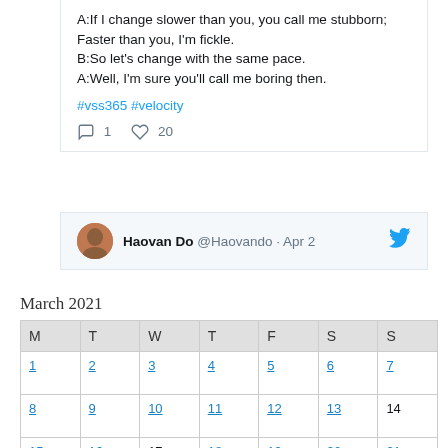A:If I change slower than you, you call me stubborn; Faster than you, I'm fickle. B:So let's change with the same pace. A:Well, I'm sure you'll call me boring then.
#vss365 #velocity
1 comment, 20 likes
Haovan Do @Haovando · Apr 2
March 2021
| M | T | W | T | F | S | S |
| --- | --- | --- | --- | --- | --- | --- |
| 1 | 2 | 3 | 4 | 5 | 6 | 7 |
| 8 | 9 | 10 | 11 | 12 | 13 | 14 |
| 15 | 16 | 17 | 18 | 19 | 20 | 21 |
| 22 | 23 | 24 | 25 | 26 | 27 | 28 |
|  |  |  |  |  |  |  |